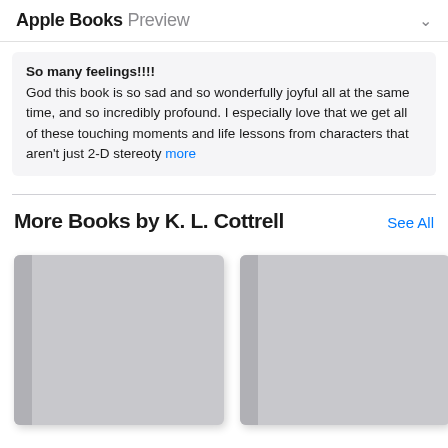Apple Books Preview
So many feelings!!!!
God this book is so sad and so wonderfully joyful all at the same time, and so incredibly profound. I especially love that we get all of these touching moments and life lessons from characters that aren't just 2-D stereoty… more
More Books by K. L. Cottrell
[Figure (illustration): Two book covers shown as gray placeholder rectangles in a horizontal row, partially cropped, representing books by K. L. Cottrell in Apple Books app]